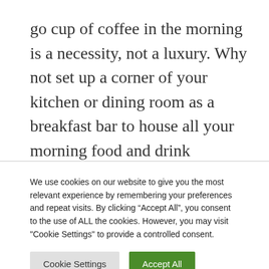go cup of coffee in the morning is a necessity, not a luxury. Why not set up a corner of your kitchen or dining room as a breakfast bar to house all your morning food and drink essentials: cereals, toast, fruit, and of course, coffee. Your over-caffeinated, sleep deprived body will thank you.
We use cookies on our website to give you the most relevant experience by remembering your preferences and repeat visits. By clicking “Accept All”, you consent to the use of ALL the cookies. However, you may visit "Cookie Settings" to provide a controlled consent.
Cookie Settings | Accept All